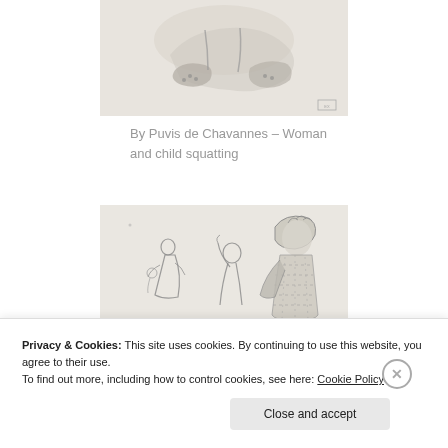[Figure (illustration): Pencil sketch showing lower body of a woman and child squatting, partial view with feet and legs visible]
By Puvis de Chavannes – Woman and child squatting
[Figure (illustration): Pencil sketch showing multiple figures including women in period dress, one prominently shown from behind wearing a bonnet and striped dress]
Privacy & Cookies: This site uses cookies. By continuing to use this website, you agree to their use.
To find out more, including how to control cookies, see here: Cookie Policy
Close and accept